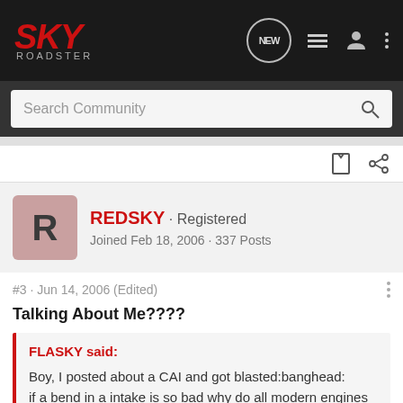SKY ROADSTER
Search Community
REDSKY · Registered
Joined Feb 18, 2006 · 337 Posts
#3 · Jun 14, 2006 (Edited)
Talking About Me????
FLASKY said:
Boy, I posted about a CAI and got blasted:banghead:
if a bend in a intake is so bad why do all modern engines have intake tracks that near 180 deg bends before innering the chamber?
And what difference does it make how the filter sits because